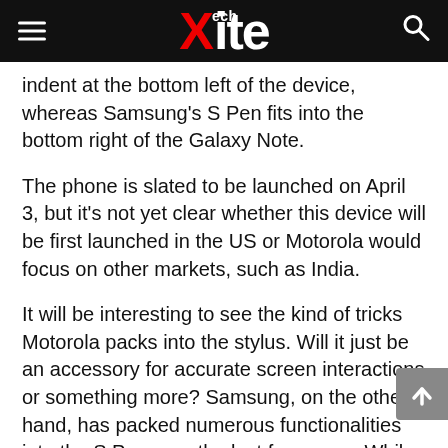Xite Tech
indent at the bottom left of the device, whereas Samsung's S Pen fits into the bottom right of the Galaxy Note.
The phone is slated to be launched on April 3, but it's not yet clear whether this device will be first launched in the US or Motorola would focus on other markets, such as India.
It will be interesting to see the kind of tricks Motorola packs into the stylus. Will it just be an accessory for accurate screen interactions or something more? Samsung, on the other hand, has packed numerous functionalities into the S Pen over the last few years. While some are pretty useful, few of them are just gimmicks, including the hand-wave gestures of the Note 10.